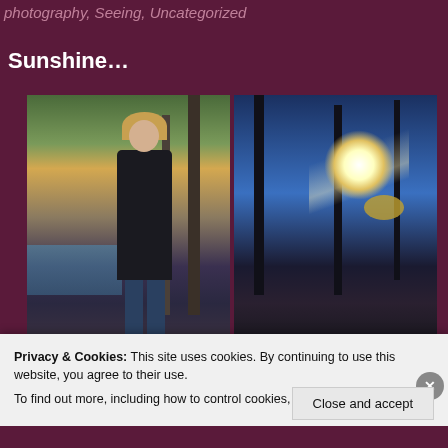photography, Seeing, Uncategorized
Sunshine…
[Figure (photo): Two side-by-side outdoor photographs. Left: a woman with long blonde hair and sunglasses wearing a dark jacket and jeans standing in front of trees near water in autumn. Right: a bright sun glowing in a blue sky surrounded by bare tree silhouettes with some autumn leaves.]
Privacy & Cookies: This site uses cookies. By continuing to use this website, you agree to their use.
To find out more, including how to control cookies, see here: Cookie Policy
Close and accept